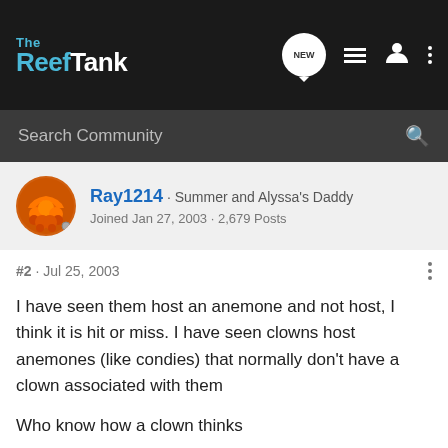The Reef Tank
Search Community
Ray1214 · Summer and Alyssa's Daddy
Joined Jan 27, 2003 · 2,679 Posts
#2 · Jul 25, 2003
I have seen them host an anemone and not host, I think it is hit or miss. I have seen clowns host anemones (like condies) that normally don't have a clown associated with them

Who know how a clown thinks

Ray
All your base are belongs to us